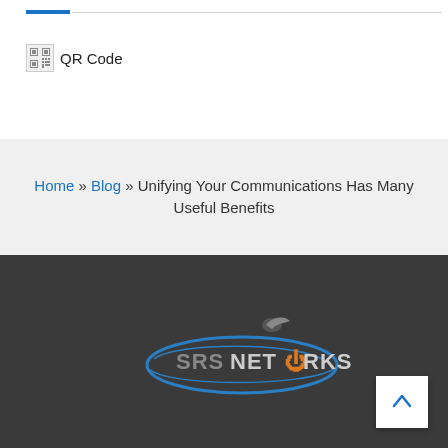[Figure (other): QR Code placeholder image with text label 'QR Code']
Home » Blog » Unifying Your Communications Has Many Useful Benefits
[Figure (logo): SRS Networks logo with bird icon on dark background]
[Figure (other): Scroll to top button with upward arrow]